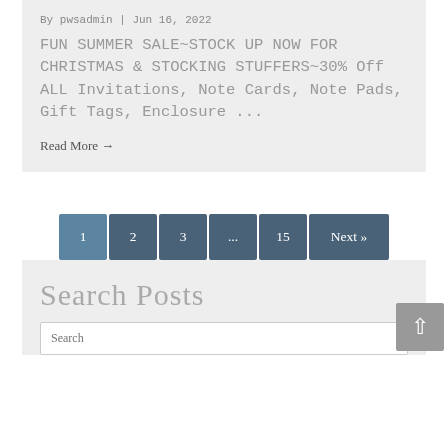By pwsadmin | Jun 16, 2022
FUN SUMMER SALE~STOCK UP NOW FOR CHRISTMAS & STOCKING STUFFERS~30% Off ALL Invitations, Note Cards, Note Pads, Gift Tags, Enclosure ...
Read More →
1  2  3  ...  15  Next »
Search Posts
Search